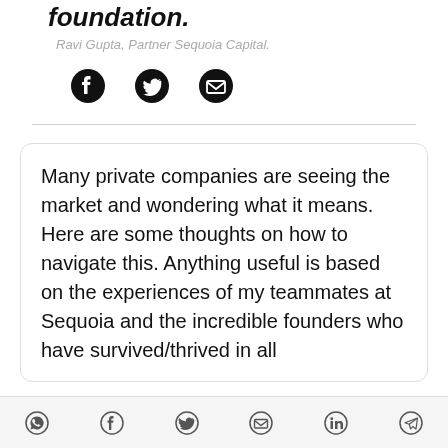foundation.
Ravi Gupta, Partner Sequoia Capital.
[Figure (other): Social share icons: Facebook, Twitter, Email]
Many private companies are seeing the market and wondering what it means. Here are some thoughts on how to navigate this. Anything useful is based on the experiences of my teammates at Sequoia and the incredible founders who have survived/thrived in all
[Figure (other): Bottom share bar icons: WhatsApp, Facebook, Twitter, Email, LinkedIn, Telegram]